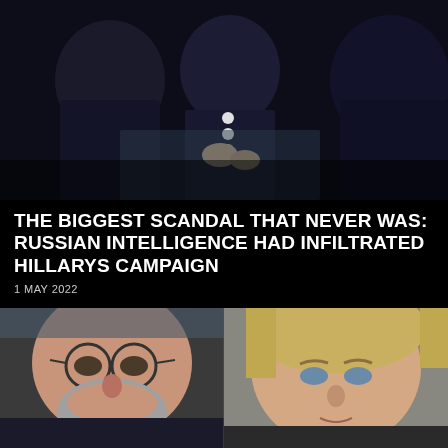[Figure (photo): Group of people in formal dark attire, one person in center wearing dark outfit with white buttons, others partially visible on sides, dark background]
THE BIGGEST SCANDAL THAT NEVER WAS: RUSSIAN INTELLIGENCE HAD INFILTRATED HILLARYS CAMPAIGN
1 MAY 2022
[Figure (photo): Split image showing two people: on left, an older man with glasses and grey beard; on right, a blonde woman with blue eyes looking forward]